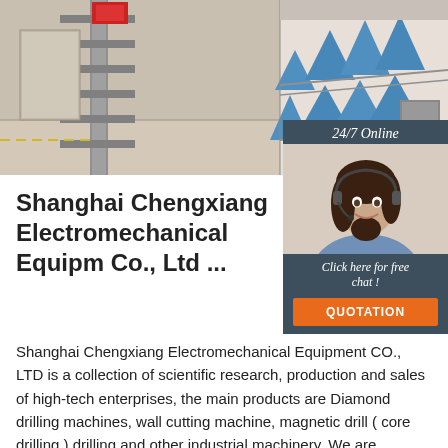[Figure (photo): Industrial machinery photo showing conveyor belt components and rollers in a factory setting. Two-panel image with metal tracks and blue industrial components.]
[Figure (photo): Side widget showing a customer service agent (woman with headset) with '24/7 Online' header and 'Click here for free chat!' text, plus an orange QUOTATION button, on dark blue-grey background.]
Shanghai Chengxiang Electromechanical Equipm Co., Ltd ...
Shanghai Chengxiang Electromechanical Equipment CO., LTD is a collection of scientific research, production and sales of high-tech enterprises, the main products are Diamond drilling machines, wall cutting machine, magnetic drill ( core drilling ) drilling and other industrial machinery. We are professional manufacturer of diamond core drill, magnetic drill and concrete wall cutters for more ...